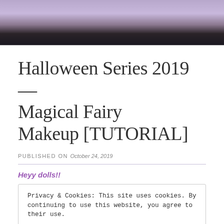[Figure (photo): Photo of a person with purple/lavender hair against a light background, cropped at top]
Halloween Series 2019 — Magical Fairy Makeup [TUTORIAL]
PUBLISHED ON October 24, 2019
Heyy dolls!!
Privacy & Cookies: This site uses cookies. By continuing to use this website, you agree to their use.
To find out more, including how to control cookies, see here: Cookie Policy
Close and accept